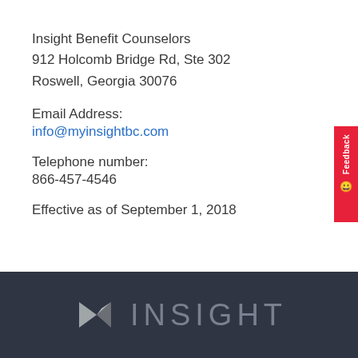Insight Benefit Counselors
912 Holcomb Bridge Rd, Ste 302
Roswell, Georgia 30076
Email Address:
info@myinsightbc.com
Telephone number:
866-457-4546
Effective as of September 1, 2018
[Figure (logo): Insight Benefit Counselors logo with geometric diamond/arrow shape in grayscale and partial company name 'INSIGHT' in light gray on dark background]